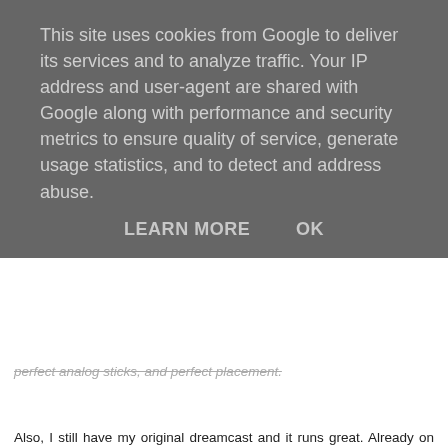This site uses cookies from Google to deliver its services and to analyze traffic. Your IP address and user-agent are shared with Google along with performance and security metrics to ensure quality of service, generate usage statistics, and to detect and address abuse.
LEARN MORE    OK
perfect analog sticks, and perfect placement.
Also, I still have my original dreamcast and it runs great. Already on my second xbox. Only the dreamcast still gets planned, although sooner or later I'm going to beat ninja gaiden black damnit!
Reply
Andrew  Wednesday, April 07, 2010
This comment has been removed by the author.
Reply